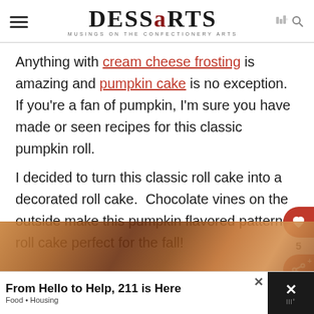DESSARTS — MUSINGS ON THE CONFECTIONERY ARTS
Anything with cream cheese frosting is amazing and pumpkin cake is no exception. If you're a fan of pumpkin, I'm sure you have made or seen recipes for this classic pumpkin roll.
I decided to turn this classic roll cake into a decorated roll cake.  Chocolate vines on the outside make this pumpkin flavored patterned roll cake perfect for the fall!
[Figure (photo): Blurred photo of pumpkin-colored items, likely pumpkins or baked goods]
From Hello to Help, 211 is Here — Food • Housing (advertisement bar)